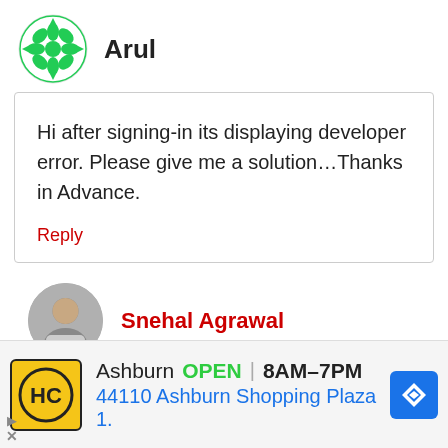[Figure (illustration): Green decorative avatar icon for user Arul]
Arul
Hi after signing-in its displaying developer error. Please give me a solution…Thanks in Advance.
Reply
[Figure (photo): Circular profile photo of Snehal Agrawal]
Snehal Agrawal
[Figure (logo): HC logo in yellow square for Ashburn ad]
Ashburn  OPEN | 8AM–7PM
44110 Ashburn Shopping Plaza 1.